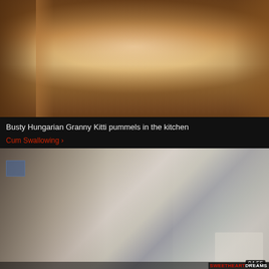[Figure (screenshot): Video thumbnail showing a kitchen scene, warm brown tones]
Busty Hungarian Granny Kitti pummels in the kitchen
Cum Swallowing >
[Figure (screenshot): Video thumbnail showing a woman in a green dress sitting on a bed with a laptop, duration 04:55, watermark SWEETHEARTDREAMS]
04:55